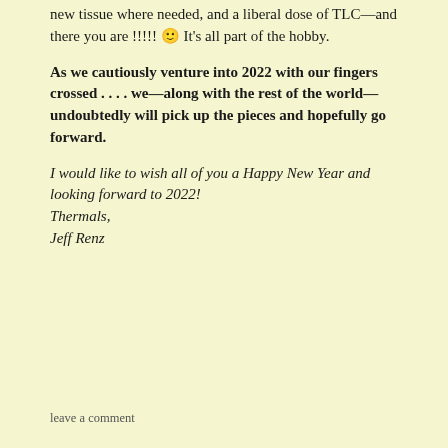new tissue where needed, and a liberal dose of TLC—and there you are !!!!! 🙂 It's all part of the hobby.
As we cautiously venture into 2022 with our fingers crossed . . . . we—along with the rest of the world—undoubtedly will pick up the pieces and hopefully go forward.
I would like to wish all of you a Happy New Year and looking forward to 2022!
Thermals,
Jeff Renz
leave a comment